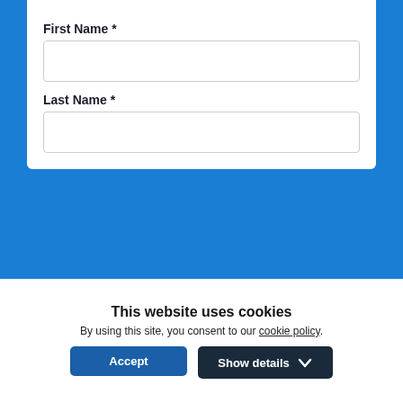First Name *
[Figure (other): Empty text input field for First Name]
Last Name *
[Figure (other): Empty text input field for Last Name]
[Figure (logo): HealthStream logo in white text on dark blue background]
This website uses cookies
By using this site, you consent to our cookie policy.
Accept | Show details